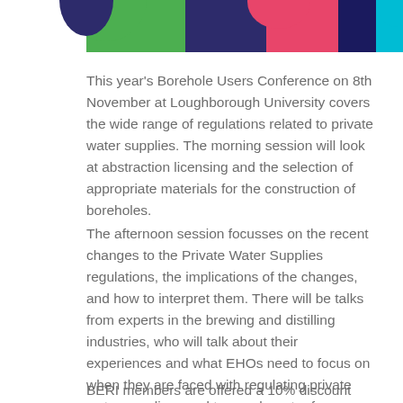[Figure (illustration): Colorful abstract banner with sections in green, dark purple/navy, pink/red, dark navy, and teal/cyan colors]
This year's Borehole Users Conference on 8th November at Loughborough University covers the wide range of regulations related to private water supplies. The morning session will look at abstraction licensing and the selection of appropriate materials for the construction of boreholes.
The afternoon session focusses on the recent changes to the Private Water Supplies regulations, the implications of the changes, and how to interpret them. There will be talks from experts in the brewing and distilling industries, who will talk about their experiences and what EHOs need to focus on when they are faced with regulating private water supplies used to supply water for brewing and distilling.
BERI members are offered a 10% discount and there